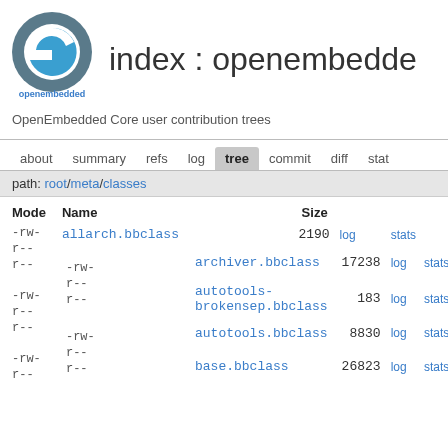[Figure (logo): OpenEmbedded circular logo with stylized 'e' in blue and grey]
index : openembedde
openembedded   OpenEmbedded Core user contribution trees
about   summary   refs   log   tree   commit   diff   stat
path: root/meta/classes
| Mode | Name | Size |  |  |
| --- | --- | --- | --- | --- |
| -rw-
r--
r-- | allarch.bbclass | 2190 | log | stats |
| -rw-
r--
r-- | archiver.bbclass | 17238 | log | stats |
| -rw-
r--
r-- | autotools-brokensep.bbclass | 183 | log | stats |
| -rw-
r--
r-- | autotools.bbclass | 8830 | log | stats |
| -rw-
r--
r-- | base.bbclass | 26823 | log | stats |